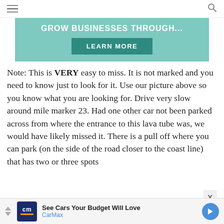Navigation header with hamburger menu and search icon
[Figure (infographic): Teal/mint colored advertisement banner with text 'GROW BUSINESSES THROUGH...' and a 'LEARN MORE' button]
Note: This is VERY easy to miss.  It is not marked and you need to know just to look for it. Use our picture above so you know what you are looking for. Drive very slow around mile marker 23.  Had one other car not been parked across from where the entrance to this lava tube was, we would have likely missed it.   There is a pull off where you can park (on the side of the road closer to the coast line) that has two or three spots
[Figure (infographic): CarMax advertisement footer banner with logo, text 'See Cars Your Budget Will Love' and 'CarMax' subtitle with blue arrow icon]